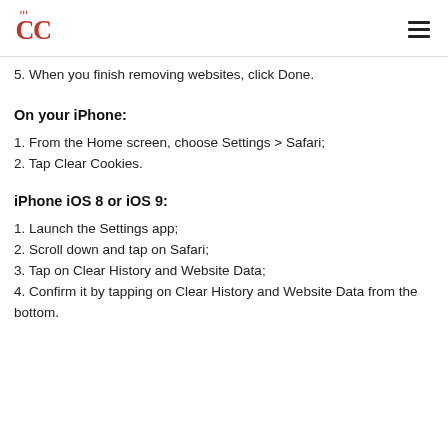CC logo and hamburger menu
5. When you finish removing websites, click Done.
On your iPhone:
1. From the Home screen, choose Settings > Safari;
2. Tap Clear Cookies.
iPhone iOS 8 or iOS 9:
1. Launch the Settings app;
2. Scroll down and tap on Safari;
3. Tap on Clear History and Website Data;
4. Confirm it by tapping on Clear History and Website Data from the bottom.